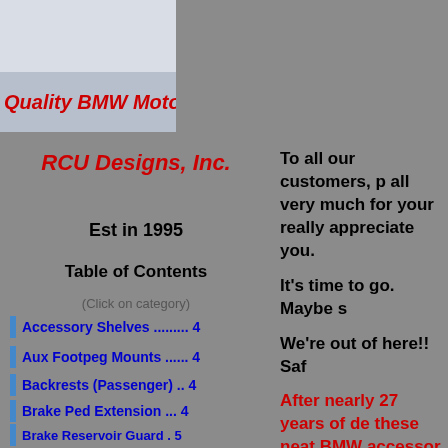RCU Designs, Inc.
Est in 1995
Table of Contents
(Click on category)
Accessory Shelves ......... 4
Aux Footpeg Mounts ...... 4
Backrests (Passenger) .. 4
Brake Ped Extension ... 4
Brake Reservoir Guard . 5
Centrstnd Skid Plate ...... 5
Farkle Compnt Plate ...... 5
Handlebar Risers ............. 5
Quality BMW Moto
To all our customers, p all very much for your really appreciate you.
It's time to go. Maybe s
We're out of here!! Saf
After nearly 27 years of de these neat BMW accessor "call it a day" and go fishi
All remaining inventory wi complimentory freight M